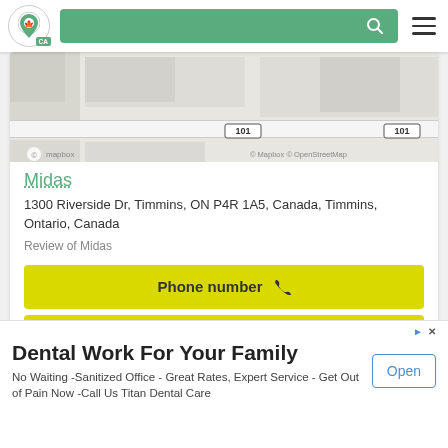[Figure (screenshot): Website header with logo pin icon with CA badge, green search bar with magnifying glass icon, and hamburger menu]
[Figure (map): Mapbox / OpenStreetMap map snippet showing road labeled 101 in two places, Mapbox and OpenStreetMap copyright attribution]
Midas
1300 Riverside Dr, Timmins, ON P4R 1A5, Canada, Timmins, Ontario, Canada
Review of Midas
Phone number
Contact information
[Figure (screenshot): Partial second card with chevron down, blue and grey map stubs]
Dental Work For Your Family
No Waiting -Sanitized Office - Great Rates, Expert Service - Get Out of Pain Now -Call Us Titan Dental Care
Open